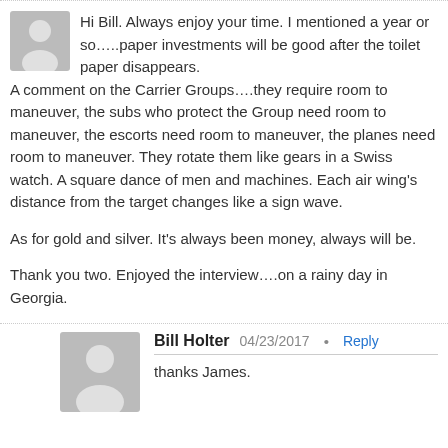Hi Bill. Always enjoy your time. I mentioned a year or so…..paper investments will be good after the toilet paper disappears.
A comment on the Carrier Groups….they require room to maneuver, the subs who protect the Group need room to maneuver, the escorts need room to maneuver, the planes need room to maneuver. They rotate them like gears in a Swiss watch. A square dance of men and machines. Each air wing's distance from the target changes like a sign wave.
As for gold and silver. It's always been money, always will be.
Thank you two. Enjoyed the interview….on a rainy day in Georgia.
Bill Holter  04/23/2017 • Reply
thanks James.